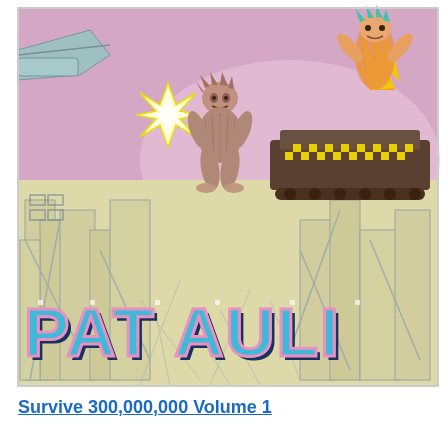[Figure (illustration): Comic book cover art showing a chaotic action scene. A wild-haired primitive/caveman-like figure in the center is being blasted or jumping, with a starburst explosion effect near their hands. Behind them is a large futuristic tank or vehicle ridden by a flaming figure with blue-green hair. The background shows a destroyed cityscape with collapsed and crumbling buildings rendered in yellow/cream tones with blue linework. The sky area is pink/magenta. In the lower portion, large retro pixel-style text reads 'PAT AULI' (partially visible) in light blue/cyan with pink outlines and dark blue drop shadows.]
Survive 300,000,000 Volume 1